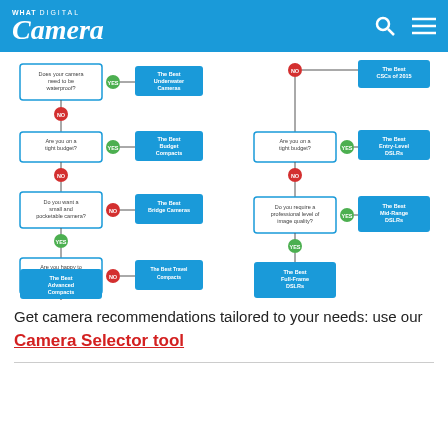What Digital Camera
[Figure (flowchart): Camera selector flowchart showing decision tree paths: Does your camera need to be waterproof? -> The Best Underwater Cameras (YES) or NO leads to Are you on a tight budget? -> The Best Budget Compacts (YES) or NO leads to Do you want a small and pocketable camera? -> The Best Bridge Cameras (NO) with YES leading to Are you happy to pay more for a premium product? -> The Best Travel Compacts (NO) with YES leading to The Best Advanced Compacts. Parallel path from top: NO (waterproof) leads to The Best CSCs of 2015; Are you on a tight budget? -> The Best Entry-Level DSLRs (YES), NO leads to Do you require a professional level of image quality? -> The Best Mid-Range DSLRs (YES), NO leads to The Best Full-Frame DSLRs.]
Get camera recommendations tailored to your needs: use our
Camera Selector tool